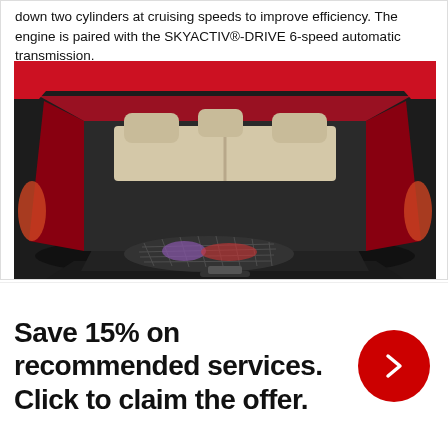down two cylinders at cruising speeds to improve efficiency. The engine is paired with the SKYACTIV®-DRIVE 6-speed automatic transmission.
[Figure (photo): Photo of a red Mazda CX-5 with the rear hatch open, showing the cargo area with a mesh cargo net holding items including what appears to be sports equipment. The interior seating is visible in the background.]
Save 15% on recommended services. Click to claim the offer.